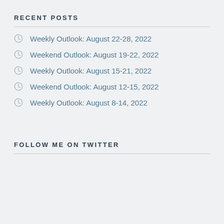RECENT POSTS
Weekly Outlook: August 22-28, 2022
Weekend Outlook: August 19-22, 2022
Weekly Outlook: August 15-21, 2022
Weekend Outlook: August 12-15, 2022
Weekly Outlook: August 8-14, 2022
FOLLOW ME ON TWITTER